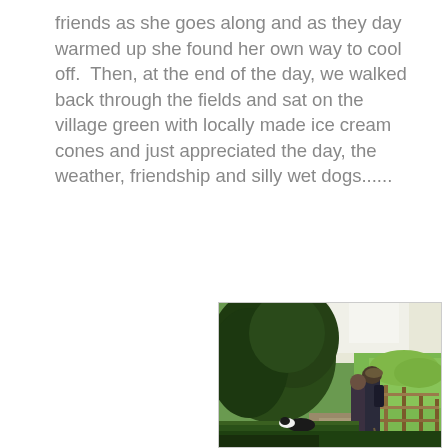friends as she goes along and as they day warmed up she found her own way to cool off.  Then, at the end of the day, we walked back through the fields and sat on the village green with locally made ice cream cones and just appreciated the day, the weather, friendship and silly wet dogs......
[Figure (photo): Two people walking along a countryside path next to a wooden fence, with large green trees on the left and open green fields on the right. A black and white dog is visible in the lower left area of the path.]